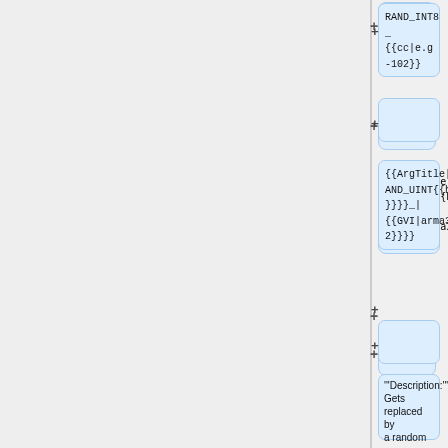[Figure (flowchart): Flowchart/wiki template diagram showing collapsible node boxes with template syntax. Boxes contain: RAND_INT8_ {{cc|e.g -102}}, (empty box), {{ArgTitle|3|__RAND_UINT{{hl|N}}}}_| {{GVI|arma3|2.02}}}}, (empty box), description text about random unsigned integer, and <syntaxhighlight lang="cpp"> box. Plus signs indicate expandable/collapsible nodes.]